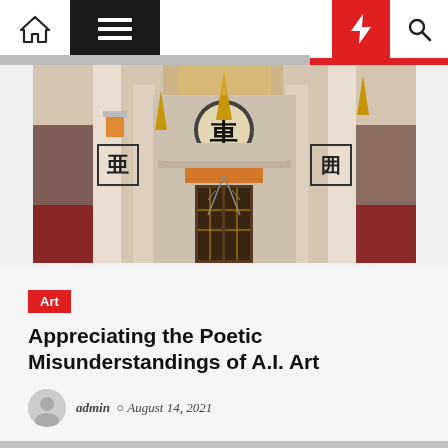Navigation bar with home, menu, moon, bolt, and search icons
[Figure (photo): Art Deco style architectural facade with ornate white sculptural columns, Chinese characters, gold spires, and decorative elements. Interior visible through doors showing red seating.]
Art
Appreciating the Poetic Misunderstandings of A.I. Art
admin  August 14, 2021